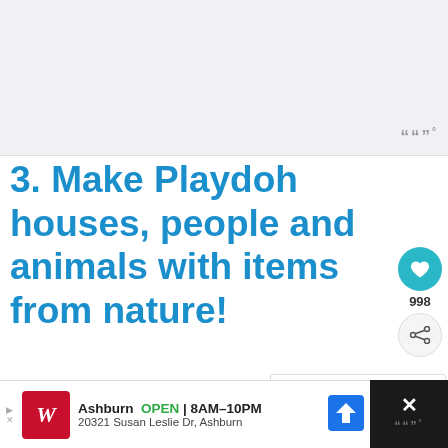[Figure (other): Gray placeholder image/advertisement area at the top of the page with a Weatherbug logo watermark in the bottom right corner]
3. Make Playdoh houses, people and animals with items from nature!
If it's raining out, grab a small bin and run outside to collect some nature decor – sticks, leaves, pine cones, flowers and roc… best!
[Figure (infographic): What's Next panel showing a thumbnail image and text 'Fun and Engaging...']
[Figure (other): Bottom advertisement banner for Walgreens showing logo, store location in Ashburn, hours OPEN 8AM-10PM, and address 20321 Susan Leslie Dr, Ashburn with a map direction icon]